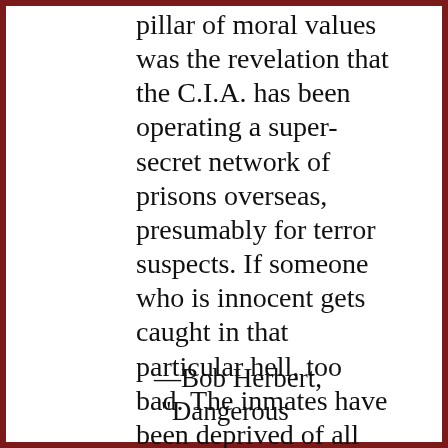pillar of moral values was the revelation that the C.I.A. has been operating a super-secret network of prisons overseas, presumably for terror suspects. If someone who is innocent gets caught in that particular hell, too bad. The inmates have been deprived of all rights.
—Bob Herbert, "Dangerous